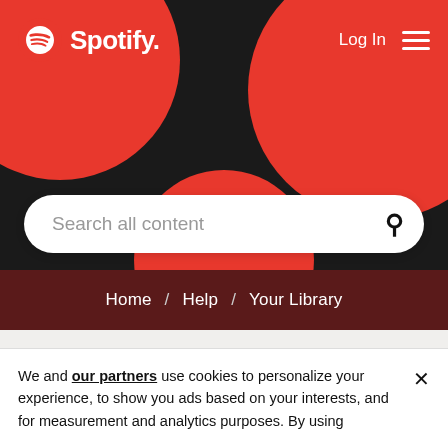[Figure (screenshot): Spotify website header with logo, Log In button, hamburger menu, decorative red circles on dark background, and search bar]
Home / Help / Your Library
Topics with Label: Favorites
We and our partners use cookies to personalize your experience, to show you ads based on your interests, and for measurement and analytics purposes. By using